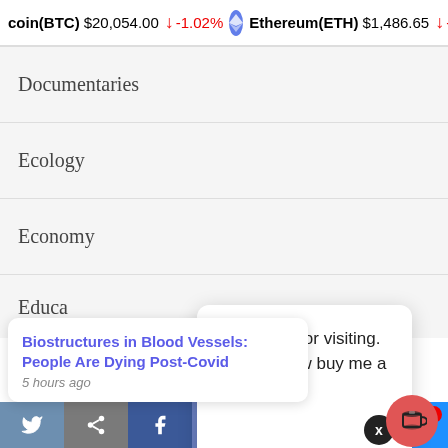coin(BTC) $20,054.00 ↓ -1.02%   Ethereum(ETH) $1,486.65 ↓ -
Documentaries
Ecology
Economy
Educa[tion]
Films
Thank you for visiting. You can now buy me a coffee!
Biostructures in Blood Vessels: People Are Dying Post-Covid
5 hours ago